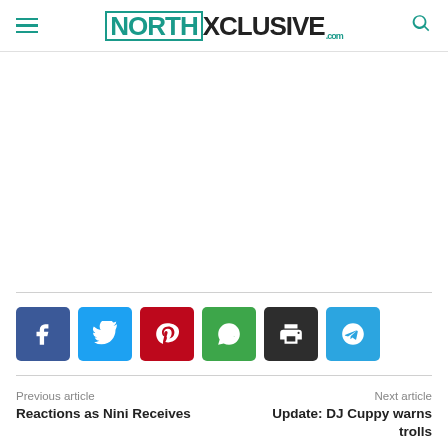NorthXclusive.com
[Figure (other): Empty advertisement/content area]
[Figure (infographic): Social share buttons: Facebook, Twitter, Pinterest, WhatsApp, Print, Telegram]
Previous article
Next article
Reactions as Nini Receives
Update: DJ Cuppy warns trolls